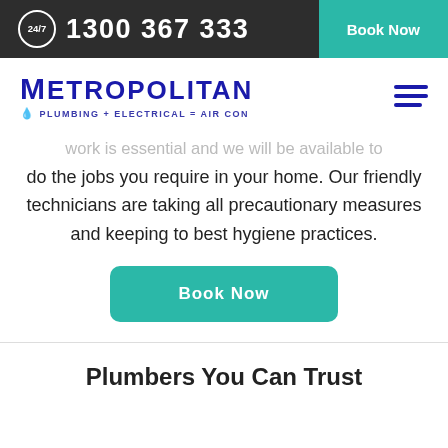24/7  1300 367 333 | Book Now
[Figure (logo): Metropolitan Plumbing + Electrical = Air Con logo in dark blue with teal drop icon]
...work is essential and we will be available to do the jobs you require in your home. Our friendly technicians are taking all precautionary measures and keeping to best hygiene practices.
Book Now
Plumbers You Can Trust